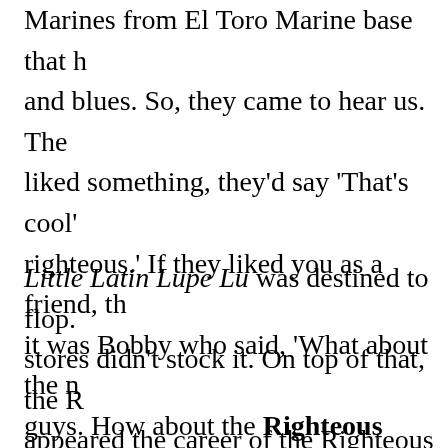Marines from El Toro Marine base that h... and blues. So, they came to hear us. The... liked something, they'd say 'That's cool'... righteous.' If they liked you as a friend, th... it was Bobby who said, 'What about the n... guys. How about the Righteous Brothe... it–we put it on the record. The black Mar...
Little Latin Lupe Lu was destined to flop... stores didn't stock it. On top of that, the R... appeared the career of the Righteous Br... started. That is until Mike Patterson, a p... Rendezvous Ballroom, considered the bi... along in 1963. "They blew me away whe... people at the Rendezvous to get Bill and...